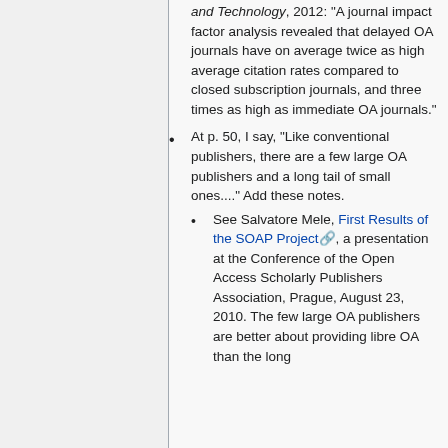and Technology, 2012: "A journal impact factor analysis revealed that delayed OA journals have on average twice as high average citation rates compared to closed subscription journals, and three times as high as immediate OA journals."
At p. 50, I say, "Like conventional publishers, there are a few large OA publishers and a long tail of small ones...." Add these notes.
See Salvatore Mele, First Results of the SOAP Project, a presentation at the Conference of the Open Access Scholarly Publishers Association, Prague, August 23, 2010. The few large OA publishers are better about providing libre OA than the long...